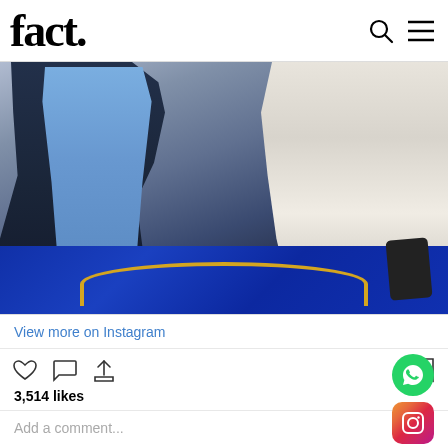fact.
[Figure (photo): Instagram embedded post showing two men sitting at a blue glittery table. The man on the left wears a dark navy blazer over a light blue shirt. The man on the right wears a white Tommy Hilfiger sweatshirt and is making a hand gesture pointing at the other man. A phone is visible on the table.]
View more on Instagram
3,514 likes
Add a comment...